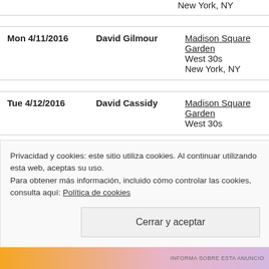| Date | Artist | Venue |
| --- | --- | --- |
|  |  | New York, NY |
| Mon 4/11/2016 | David Gilmour | Madison Square Garden
West 30s
New York, NY |
| Tue 4/12/2016 | David Cassidy | Madison Square Garden
West 30s |
Privacidad y cookies: este sitio utiliza cookies. Al continuar utilizando esta web, aceptas su uso.
Para obtener más información, incluido cómo controlar las cookies, consulta aquí: Política de cookies
Cerrar y aceptar